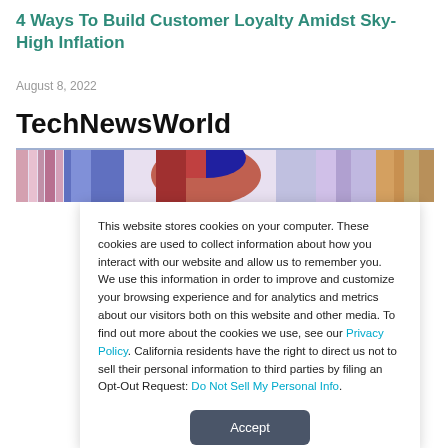4 Ways To Build Customer Loyalty Amidst Sky-High Inflation
August 8, 2022
TechNewsWorld
[Figure (photo): Colorful banner image with abstract multicolor stripes and a person's face with colorful lighting]
This website stores cookies on your computer. These cookies are used to collect information about how you interact with our website and allow us to remember you. We use this information in order to improve and customize your browsing experience and for analytics and metrics about our visitors both on this website and other media. To find out more about the cookies we use, see our Privacy Policy. California residents have the right to direct us not to sell their personal information to third parties by filing an Opt-Out Request: Do Not Sell My Personal Info.
Accept